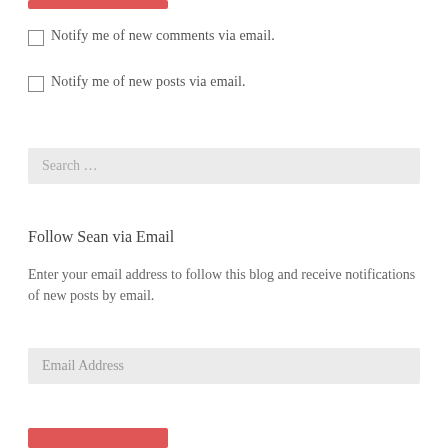[Figure (other): Red button/bar at top]
Notify me of new comments via email.
Notify me of new posts via email.
Search …
Follow Sean via Email
Enter your email address to follow this blog and receive notifications of new posts by email.
Email Address
[Figure (other): Red button at bottom]